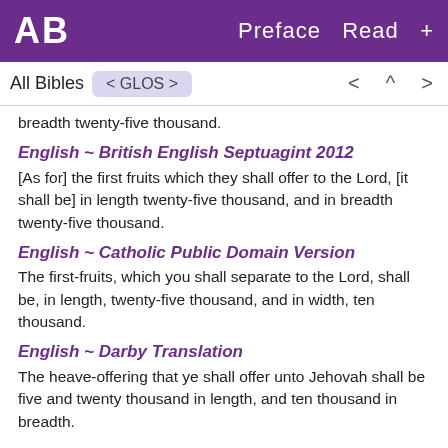AB  Preface  Read  +
All Bibles  < GLOS >  < ^ >
breadth twenty-five thousand.
English ~ British English Septuagint 2012
[As for] the first fruits which they shall offer to the Lord, [it shall be] in length twenty-five thousand, and in breadth twenty-five thousand.
English ~ Catholic Public Domain Version
The first-fruits, which you shall separate to the Lord, shall be, in length, twenty-five thousand, and in width, ten thousand.
English ~ Darby Translation
The heave-offering that ye shall offer unto Jehovah shall be five and twenty thousand in length, and ten thousand in breadth.